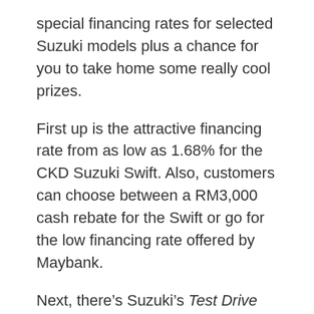special financing rates for selected Suzuki models plus a chance for you to take home some really cool prizes.
First up is the attractive financing rate from as low as 1.68% for the CKD Suzuki Swift. Also, customers can choose between a RM3,000 cash rebate for the Swift or go for the low financing rate offered by Maybank.
Next, there’s Suzuki’s Test Drive and Win campaign, which runs until the end of October. All you need to do is test drive and register your interest for any Suzuki model to qualify for a simple lucky draw contest.